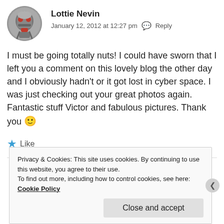[Figure (photo): Circular avatar photo of Lottie Nevin showing a robot/mask-like figure in red and silver tones]
Lottie Nevin
January 12, 2012 at 12:27 pm  Reply
I must be going totally nuts! I could have sworn that I left you a comment on this lovely blog the other day and I obviously hadn't or it got lost in cyber space. I was just checking out your great photos again. Fantastic stuff Victor and fabulous pictures. Thank you 🙂
★ Like
Privacy & Cookies: This site uses cookies. By continuing to use this website, you agree to their use.
To find out more, including how to control cookies, see here: Cookie Policy
Close and accept